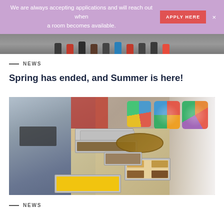We are always accepting applications and will reach out when a room becomes available. APPLY HERE ×
[Figure (photo): Top cropped photo showing feet/legs of multiple people standing on carpet, viewed from above]
— NEWS
Spring has ended, and Summer is here!
[Figure (photo): People gathered around a table with multiple aluminum foil trays of food including corn, bread, and other dishes, with colorful decorative pillows in the background]
— NEWS